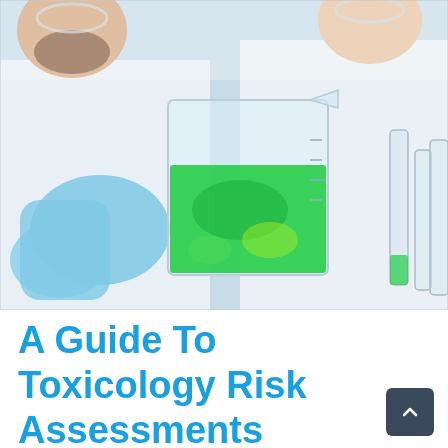[Figure (photo): Two scientists in white lab coats and safety glasses examining a beaker containing bright green liquid. One scientist wears blue nitrile gloves. A test tube rack with glass tubes is visible in the background right.]
A Guide To Toxicology Risk Assessments